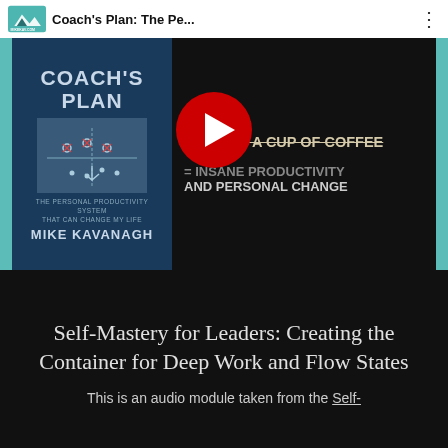Coach's Plan: The Pe... | mikekav.com
[Figure (screenshot): YouTube video thumbnail showing the book 'Coach's Plan' by Mike Kavanagh on the left with a dark blue cover and football diagram, and on the right text reading '1 HOUR + COST OF A CUP OF COFFEE – INSANE PRODUCTIVITY AND PERSONAL CHANGE' with a YouTube play button overlay in the center.]
Self-Mastery for Leaders: Creating the Container for Deep Work and Flow States
This is an audio module taken from the Self-